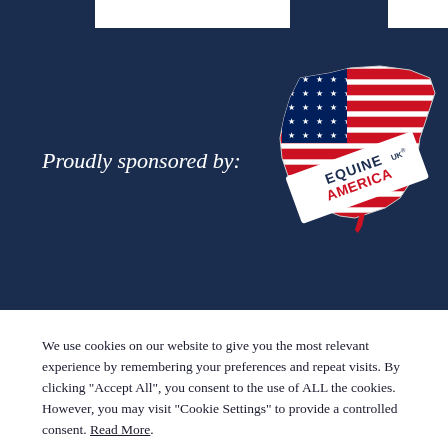[Figure (logo): Dark navy blue banner with 'Proudly sponsored by:' text on the left and an Equine America UK logo on the right — a stylized USA map shape filled with American flag stars and stripes pattern, with 'EQUINE AMERICA UK®' text overlaid on a diagonal white banner ribbon.]
We use cookies on our website to give you the most relevant experience by remembering your preferences and repeat visits. By clicking "Accept All", you consent to the use of ALL the cookies. However, you may visit "Cookie Settings" to provide a controlled consent. Read More.
Reject All
Cookie Settings
Accept All